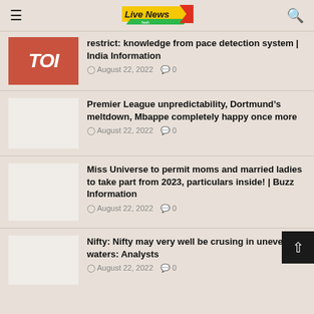Live News
[Figure (screenshot): TOI red logo thumbnail]
restrict: knowledge from pace detection system | India Information
August 22, 2022  0
[Figure (photo): Blank/white thumbnail image]
Premier League unpredictability, Dortmund’s meltdown, Mbappe completely happy once more
August 22, 2022  0
[Figure (photo): Blank/white thumbnail image]
Miss Universe to permit moms and married ladies to take part from 2023, particulars inside! | Buzz Information
August 22, 2022  0
[Figure (photo): Blank/white thumbnail image]
Nifty: Nifty may very well be crusing in uneven waters: Analysts
August 22, 2022  0